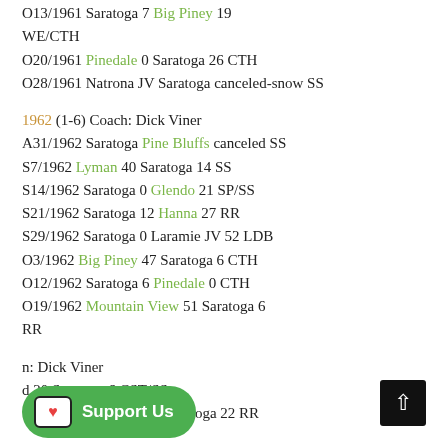O13/1961 Saratoga 7 Big Piney 19 WE/CTH
O20/1961 Pinedale 0 Saratoga 26 CTH
O28/1961 Natrona JV Saratoga canceled-snow SS
1962 (1-6) Coach: Dick Viner
A31/1962 Saratoga Pine Bluffs canceled SS
S7/1962 Lyman 40 Saratoga 14 SS
S14/1962 Saratoga 0 Glendo 21 SP/SS
S21/1962 Saratoga 12 Hanna 27 RR
S29/1962 Saratoga 0 Laramie JV 52 LDB
O3/1962 Big Piney 47 Saratoga 6 CTH
O12/1962 Saratoga 6 Pinedale 0 CTH
O19/1962 Mountain View 51 Saratoga 6 RR
n: Dick Viner
d 20 Saratoga 6 CST/SS
S13/1962 Cokeville 12 Saratoga 22 RR